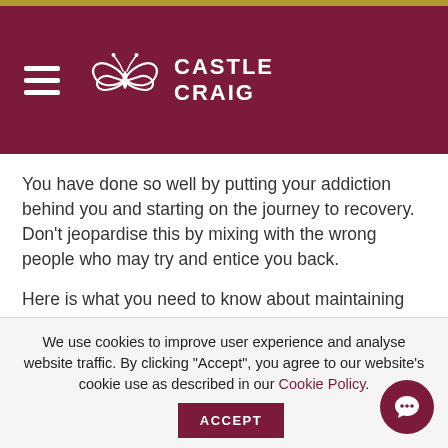[Figure (logo): Castle Craig logo with butterfly emblem and hamburger menu icon on dark red background]
You have done so well by putting your addiction behind you and starting on the journey to recovery. Don't jeopardise this by mixing with the wrong people who may try and entice you back.
Here is what you need to know about maintaining healthy relationships during recovery and eliminating toxic relationships from your life.
We use cookies to improve user experience and analyse website traffic. By clicking "Accept", you agree to our website's cookie use as described in our Cookie Policy.